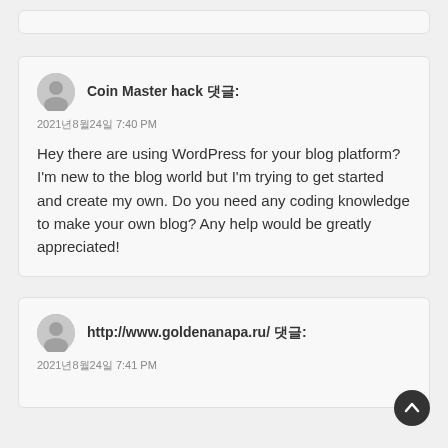Coin Master hack 댓글:
2021년8월24일 7:40 PM
Hey there are using WordPress for your blog platform?
I'm new to the blog world but I'm trying to get started and create my own. Do you need any coding knowledge to make your own blog? Any help would be greatly appreciated!
http://www.goldenanapa.ru/ 댓글:
2021년8월24일 7:41 PM